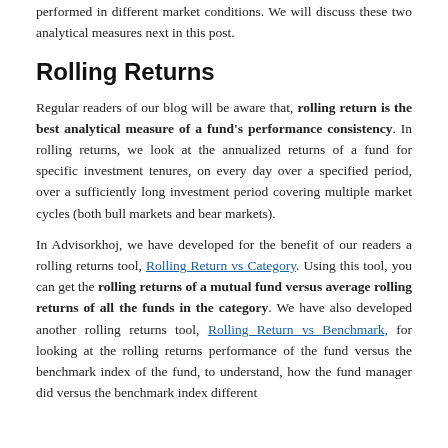performed in different market conditions. We will discuss these two analytical measures next in this post.
Rolling Returns
Regular readers of our blog will be aware that, rolling return is the best analytical measure of a fund's performance consistency. In rolling returns, we look at the annualized returns of a fund for specific investment tenures, on every day over a specified period, over a sufficiently long investment period covering multiple market cycles (both bull markets and bear markets).
In Advisorkhoj, we have developed for the benefit of our readers a rolling returns tool, Rolling Return vs Category. Using this tool, you can get the rolling returns of a mutual fund versus average rolling returns of all the funds in the category. We have also developed another rolling returns tool, Rolling Return vs Benchmark, for looking at the rolling returns performance of the fund versus the benchmark index of the fund, to understand, how the fund manager did versus the benchmark index different